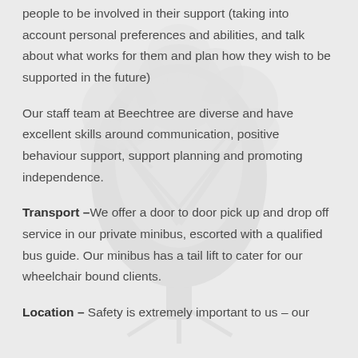people to be involved in their support (taking into account personal preferences and abilities, and talk about what works for them and plan how they wish to be supported in the future)
Our staff team at Beechtree are diverse and have excellent skills around communication, positive behaviour support, support planning and promoting independence.
Transport –We offer a door to door pick up and drop off service in our private minibus, escorted with a qualified bus guide. Our minibus has a tail lift to cater for our wheelchair bound clients.
Location – Safety is extremely important to us – our